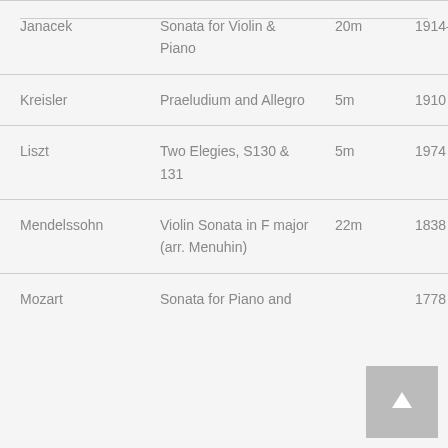| Composer | Work | Duration | Year |
| --- | --- | --- | --- |
| Janacek | Sonata for Violin & Piano | 20m | 1914–15 |
| Kreisler | Praeludium and Allegro | 5m | 1910 |
| Liszt | Two Elegies, S130 & 131 | 5m | 1974 |
| Mendelssohn | Violin Sonata in F major (arr. Menuhin) | 22m | 1838 |
| Mozart | Sonata for Piano and |  | 1778 |